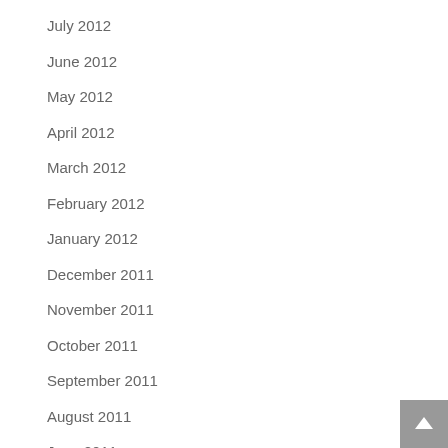July 2012
June 2012
May 2012
April 2012
March 2012
February 2012
January 2012
December 2011
November 2011
October 2011
September 2011
August 2011
June 2011
May 2011
April 2011